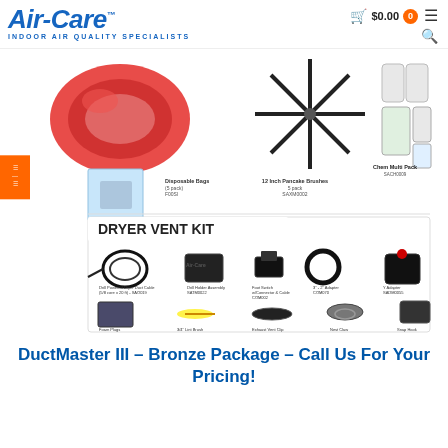Air-Care Indoor Air Quality Specialists — $0.00 cart
[Figure (photo): Product photo collage showing: red coiled air duct cleaning hose, star-shaped 12 Inch Pancake Brushes 5 pack SAXM0002, Chem Multi Pack SACH0009 bottles, Disposable Bags (5 pack) F00SI, and a Dryer Vent Kit containing Drill Powered Dryer Duct Cable (5/8 core x 20ft) SAO019, Drill Holder Assembly SATM0022, Foot Switch w/Connector & Cable COM002, 3-2 Adapter COM070, Y Adapter SADM0055, Foam Plugs, 3/4 Lint Brush, Exhaust Vent Clip, Nest Claw, Snap Hook]
DuctMaster III – Bronze Package – Call Us For Your Pricing!